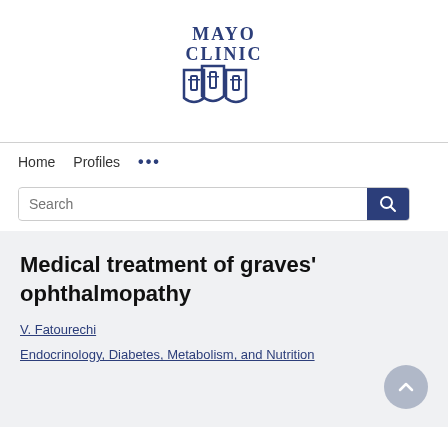[Figure (logo): Mayo Clinic logo with shield emblem and text MAYO CLINIC in dark blue]
Home   Profiles   ...
Search
Medical treatment of graves' ophthalmopathy
V. Fatourechi
Endocrinology, Diabetes, Metabolism, and Nutrition